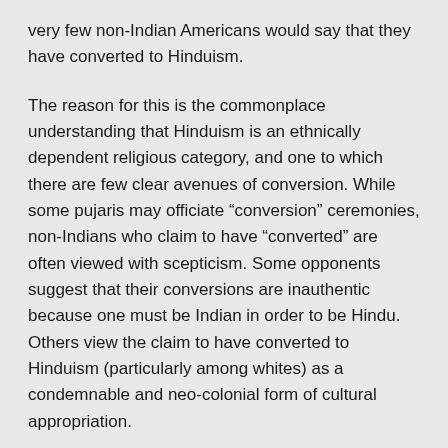very few non-Indian Americans would say that they have converted to Hinduism.
The reason for this is the commonplace understanding that Hinduism is an ethnically dependent religious category, and one to which there are few clear avenues of conversion. While some pujaris may officiate “conversion” ceremonies, non-Indians who claim to have “converted” are often viewed with scepticism. Some opponents suggest that their conversions are inauthentic because one must be Indian in order to be Hindu. Others view the claim to have converted to Hinduism (particularly among whites) as a condemnable and neo-colonial form of cultural appropriation.
Belief and practice